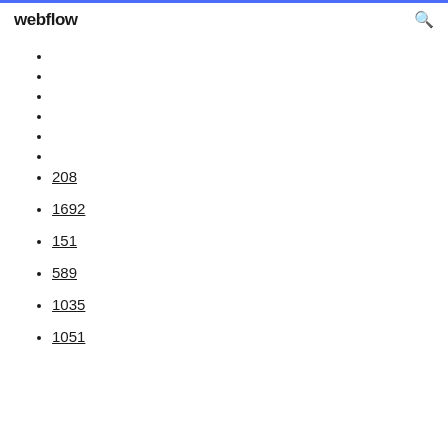webflow
208
1692
151
589
1035
1051